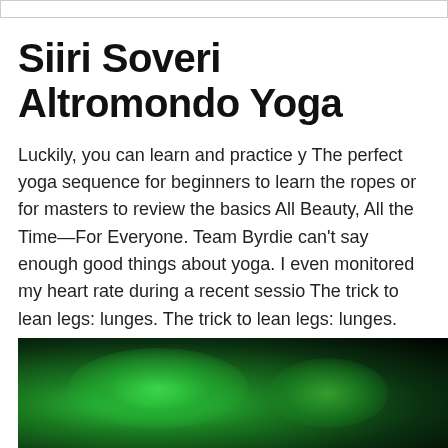Siiri Soveri Altromondo Yoga
Luckily, you can learn and practice y The perfect yoga sequence for beginners to learn the ropes or for masters to review the basics All Beauty, All the Time—For Everyone. Team Byrdie can't say enough good things about yoga. I even monitored my heart rate during a recent sessio The trick to lean legs: lunges. The trick to lean legs: lunges.
[Figure (photo): Dark photo with green glowing light, likely a yoga or nature-themed image with vivid green illumination against a dark background]